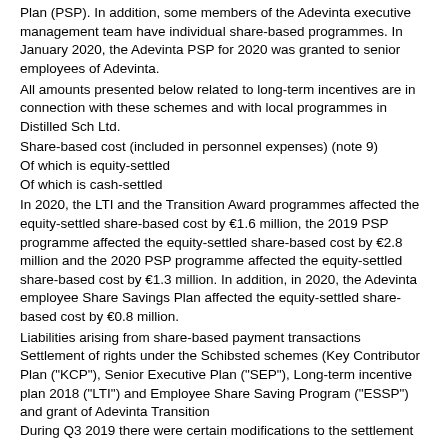Plan (PSP). In addition, some members of the Adevinta executive management team have individual share-based programmes. In January 2020, the Adevinta PSP for 2020 was granted to senior employees of Adevinta.
All amounts presented below related to long-term incentives are in connection with these schemes and with local programmes in Distilled Sch Ltd.
Share-based cost (included in personnel expenses) (note 9)
Of which is equity-settled
Of which is cash-settled
In 2020, the LTI and the Transition Award programmes affected the equity-settled share-based cost by €1.6 million, the 2019 PSP programme affected the equity-settled share-based cost by €2.8 million and the 2020 PSP programme affected the equity-settled share-based cost by €1.3 million. In addition, in 2020, the Adevinta employee Share Savings Plan affected the equity-settled share-based cost by €0.8 million.
Liabilities arising from share-based payment transactions
Settlement of rights under the Schibsted schemes (Key Contributor Plan ("KCP"), Senior Executive Plan ("SEP"), Long-term incentive plan 2018 ("LTI") and Employee Share Saving Program ("ESSP") and grant of Adevinta Transition
During Q3 2019 there were certain modifications to the settlement